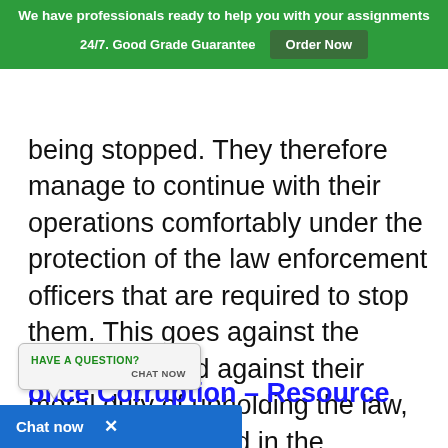We have professionals ready to help you with your assignments 24/7. Good Grade Guarantee  Order Now
being stopped. They therefore manage to continue with their operations comfortably under the protection of the law enforcement officers that are required to stop them. This goes against the police duty and against their moral duty of upholding the law, and being devoted in the protection of the citizens and their country. It also goes against individual morality.
[Figure (screenshot): Chat widget popup with 'HAVE A QUESTION? CHAT NOW' text]
[Figure (screenshot): Blue chat bar at bottom with 'Chat now' text and close X button]
olice Corruption – Resource Review